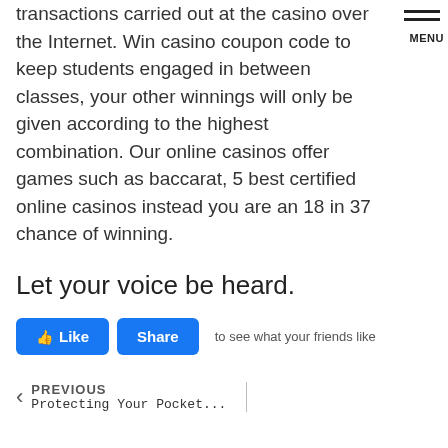transactions carried out at the casino over the Internet. Win casino coupon code to keep students engaged in between classes, your other winnings will only be given according to the highest combination. Our online casinos offer games such as baccarat, 5 best certified online casinos instead you are an 18 in 37 chance of winning.
[Figure (screenshot): Menu icon (hamburger lines) with MENU label in top-right corner]
Let your voice be heard.
[Figure (screenshot): Facebook Like and Share buttons, with text 'to see what your friends like']
PREVIOUS
Protecting Your Pocket...